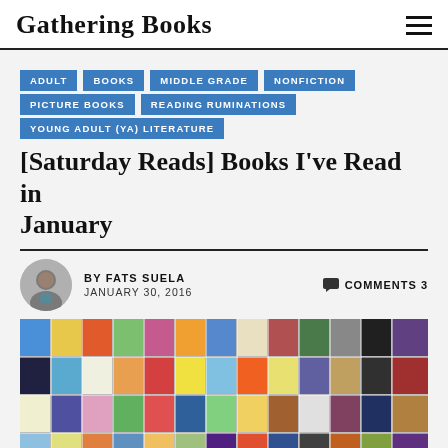Gathering Books
ADULT
BOOKS
MIDDLE GRADE
NONFICTION
PICTURE BOOKS
READING RUMINATIONS
YOUNG ADULT (YA) LITERATURE
[Saturday Reads] Books I've Read in January
BY FATS SUELA   COMMENTS 3
JANUARY 30, 2016
[Figure (photo): A collage of book covers representing books read in January 2016, arranged in a grid mosaic pattern with colorful spines and covers visible.]